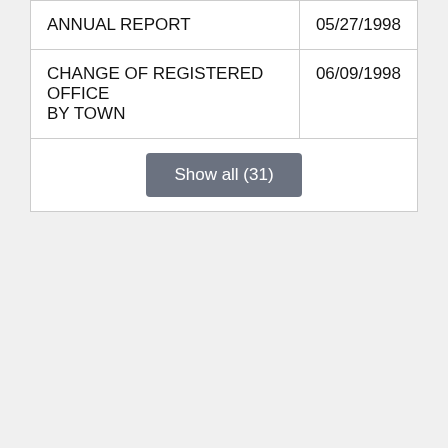| Description | Date |
| --- | --- |
| ANNUAL REPORT | 05/27/1998 |
| CHANGE OF REGISTERED OFFICE BY TOWN | 06/09/1998 |
| Show all (31) |  |